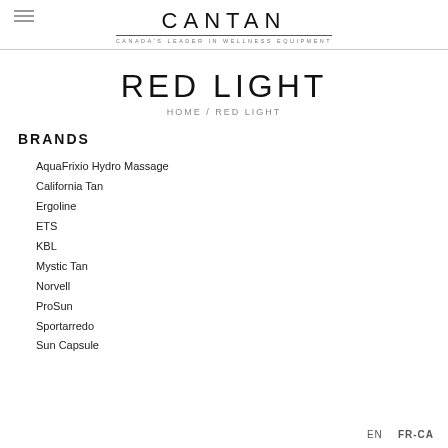CANTAN — CANADA'S LEADER IN WELLNESS EQUIPMENT
RED LIGHT
HOME / RED LIGHT
BRANDS
AquaFrixio Hydro Massage
California Tan
Ergoline
ETS
KBL
Mystic Tan
Norvell
ProSun
Sportarredo
Sun Capsule
EN   FR-CA